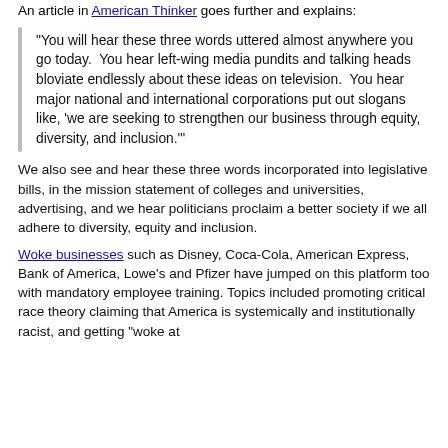An article in American Thinker goes further and explains:
“You will hear these three words uttered almost anywhere you go today. You hear left-wing media pundits and talking heads bloviate endlessly about these ideas on television. You hear major national and international corporations put out slogans like, ‘we are seeking to strengthen our business through equity, diversity, and inclusion.’”
We also see and hear these three words incorporated into legislative bills, in the mission statement of colleges and universities, advertising, and we hear politicians proclaim a better society if we all adhere to diversity, equity and inclusion.
Woke businesses such as Disney, Coca-Cola, American Express, Bank of America, Lowe’s and Pfizer have jumped on this platform too with mandatory employee training. Topics included promoting critical race theory claiming that America is systemically and institutionally racist, and getting “woke at